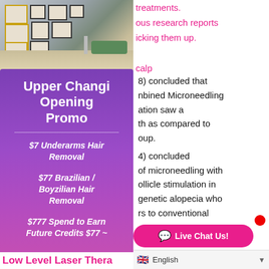[Figure (photo): Interior hallway of a beauty/medical clinic with framed pictures on the wall, modern furnishings visible in the background.]
treatments.
ous research reports
icking them up.
calp
[Figure (infographic): Promotional card with purple gradient background for Upper Changi Opening Promo listing: $7 Underarms Hair Removal, $77 Brazilian / Boyzilian Hair Removal, $777 Spend to Earn Future Credits $77 ~]
8) concluded that
nbined Microneedling
ation saw a
th as compared to
oup.
4) concluded
of microneedling with
ollicle stimulation in
genetic alopecia who
rs to conventional
Low Level Laser Thera...
Live Chat Us!
English